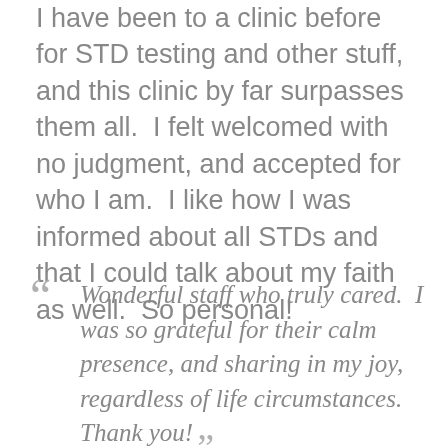I have been to a clinic before for STD testing and other stuff, and this clinic by far surpasses them all. I felt welcomed with no judgment, and accepted for who I am. I like how I was informed about all STDs and that I could talk about my faith as well. So personal!
Wonderful staff who truly cared. I was so grateful for their calm presence, and sharing in my joy, regardless of life circumstances. Thank you!